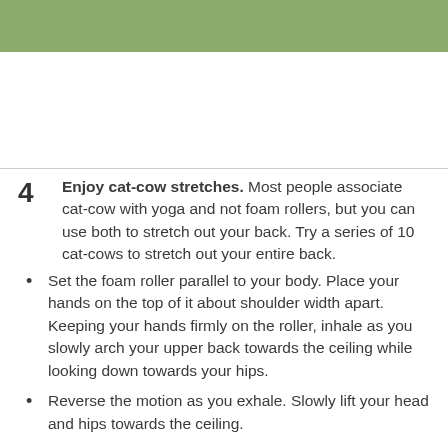[Figure (other): Green decorative header bar]
4 Enjoy cat-cow stretches. Most people associate cat-cow with yoga and not foam rollers, but you can use both to stretch out your back. Try a series of 10 cat-cows to stretch out your entire back.
Set the foam roller parallel to your body. Place your hands on the top of it about shoulder width apart. Keeping your hands firmly on the roller, inhale as you slowly arch your upper back towards the ceiling while looking down towards your hips.
Reverse the motion as you exhale. Slowly lift your head and hips towards the ceiling.